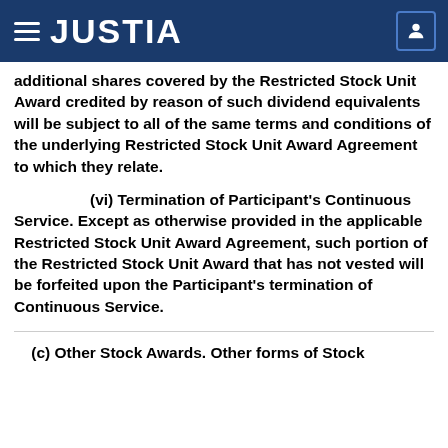JUSTIA
additional shares covered by the Restricted Stock Unit Award credited by reason of such dividend equivalents will be subject to all of the same terms and conditions of the underlying Restricted Stock Unit Award Agreement to which they relate.
(vi) Termination of Participant’s Continuous Service. Except as otherwise provided in the applicable Restricted Stock Unit Award Agreement, such portion of the Restricted Stock Unit Award that has not vested will be forfeited upon the Participant’s termination of Continuous Service.
(c) Other Stock Awards. Other forms of Stock